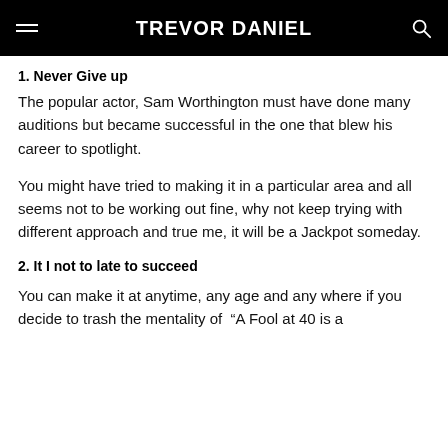TREVOR DANIEL
1. Never Give up
The popular actor, Sam Worthington must have done many auditions but became successful in the one that blew his career to spotlight.
You might have tried to making it in a particular area and all seems not to be working out fine, why not keep trying with different approach and true me, it will be a Jackpot someday.
2. It I not to late to succeed
You can make it at anytime, any age and any where if you decide to trash the mentality of “A Fool at 40 is a